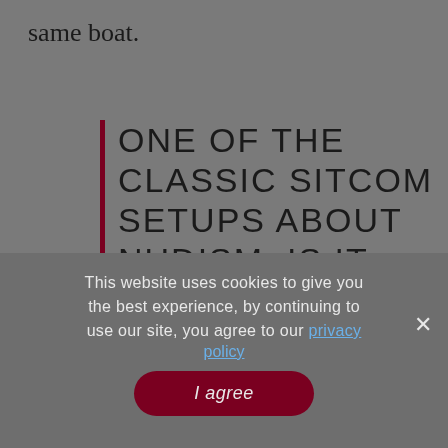same boat.
ONE OF THE CLASSIC SITCOM SETUPS ABOUT NUDISM: IS IT RUDE TO SHOW UP CLOTHED? OF COURSE NOT. WE LIVE IN A WORLD THAT HAS EMBRACED THE TROUSER
This website uses cookies to give you the best experience, by continuing to use our site, you agree to our privacy policy
I agree